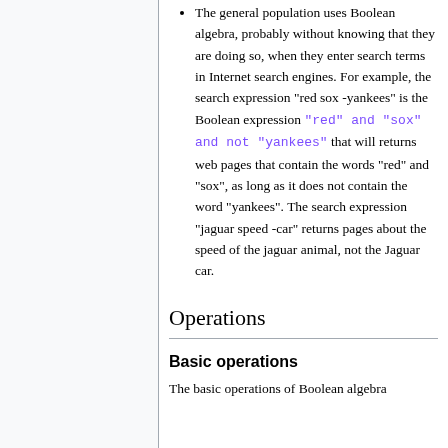The general population uses Boolean algebra, probably without knowing that they are doing so, when they enter search terms in Internet search engines. For example, the search expression "red sox -yankees" is the Boolean expression "red" and "sox" and not "yankees" that will returns web pages that contain the words "red" and "sox", as long as it does not contain the word "yankees". The search expression "jaguar speed -car" returns pages about the speed of the jaguar animal, not the Jaguar car.
Operations
Basic operations
The basic operations of Boolean algebra